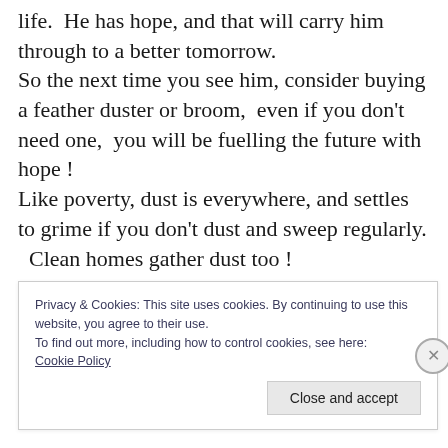life.  He has hope, and that will carry him through to a better tomorrow.
So the next time you see him, consider buying a feather duster or broom,  even if you don't need one,  you will be fuelling the future with hope !
Like poverty, dust is everywhere, and settles to grime if you don't dust and sweep regularly.
  Clean homes gather dust too !
Privacy & Cookies: This site uses cookies. By continuing to use this website, you agree to their use.
To find out more, including how to control cookies, see here:
Cookie Policy